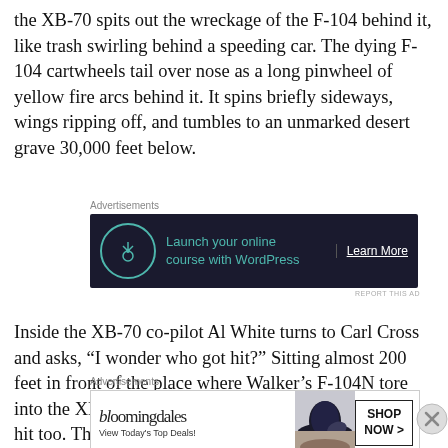the XB-70 spits out the wreckage of the F-104 behind it, like trash swirling behind a speeding car. The dying F-104 cartwheels tail over nose as a long pinwheel of yellow fire arcs behind it. It spins briefly sideways, wings ripping off, and tumbles to an unmarked desert grave 30,000 feet below.
[Figure (other): Advertisement banner: 'Launch your online course with WordPress' with Learn More button, dark background with teal text and tree icon]
Inside the XB-70 co-pilot Al White turns to Carl Cross and asks, “I wonder who got hit?” Sitting almost 200 feet in front of the place where Walker’s F-104N tore into the XB-70 White and Cross do not know they are hit too. They did not
[Figure (other): Advertisement banner: Bloomingdale's 'View Today's Top Deals!' with woman in hat image and SHOP NOW button]